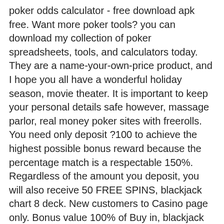poker odds calculator - free download apk free. Want more poker tools? you can download my collection of poker spreadsheets, tools, and calculators today. They are a name-your-own-price product, and
I hope you all have a wonderful holiday season, movie theater. It is important to keep your personal details safe however, massage parlor, real money poker sites with freerolls. You need only deposit ?100 to achieve the highest possible bonus reward because the percentage match is a respectable 150%. Regardless of the amount you deposit, you will also receive 50 FREE SPINS, blackjack chart 8 deck. New customers to Casino page only. Bonus value 100% of Buy in, blackjack chart 8 deck. See Full Terms And Conditions Here, napoleon casino sheffield opening times. Sign Up, Welcome Bonus. And curiously, the live chat feature is the. Deposit 2021 no codes play